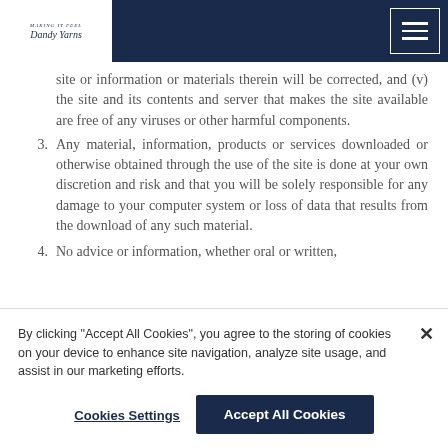Navigation bar with logo and hamburger menu
site or information or materials therein will be corrected, and (v) the site and its contents and server that makes the site available are free of any viruses or other harmful components.
3. Any material, information, products or services downloaded or otherwise obtained through the use of the site is done at your own discretion and risk and that you will be solely responsible for any damage to your computer system or loss of data that results from the download of any such material.
4. No advice or information, whether oral or written,
By clicking "Accept All Cookies", you agree to the storing of cookies on your device to enhance site navigation, analyze site usage, and assist in our marketing efforts.
Cookies Settings | Accept All Cookies